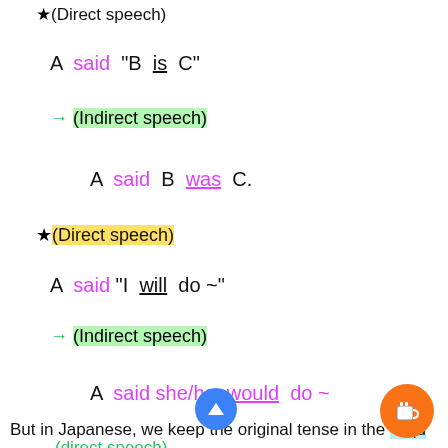★(Direct speech)
A  said  "B is  C"
→ (Indirect speech)
A  said  B was  C.
★(Direct speech)
A  said "I will do ~"
→ (Indirect speech)
A  said she/he would  do ~
But in Japanese, we keep the original tense in the 「qu
(direct speech)